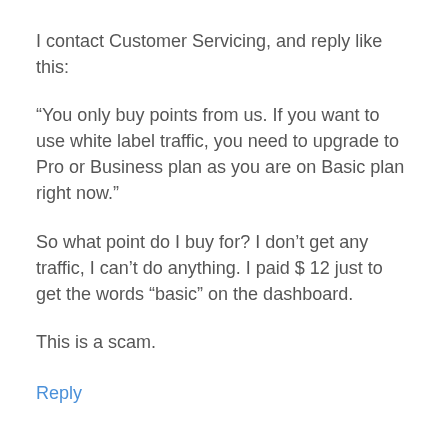I contact Customer Servicing, and reply like this:
“You only buy points from us. If you want to use white label traffic, you need to upgrade to Pro or Business plan as you are on Basic plan right now.”
So what point do I buy for? I don’t get any traffic, I can’t do anything. I paid $ 12 just to get the words “basic” on the dashboard.
This is a scam.
Reply